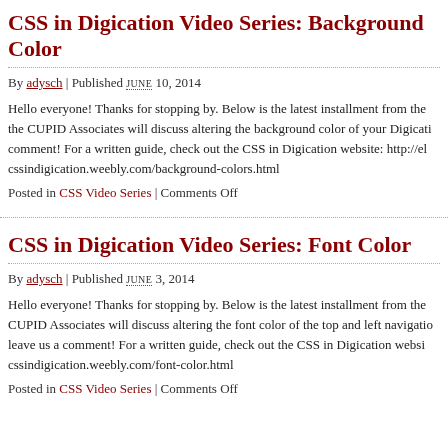CSS in Digication Video Series: Background Color
By adysch | Published JUNE 10, 2014
Hello everyone! Thanks for stopping by. Below is the latest installment from the the CUPID Associates will discuss altering the background color of your Digicati comment! For a written guide, check out the CSS in Digication website: http://el cssindigication.weebly.com/background-colors.html
Posted in CSS Video Series | Comments Off
CSS in Digication Video Series: Font Color
By adysch | Published JUNE 3, 2014
Hello everyone! Thanks for stopping by. Below is the latest installment from the CUPID Associates will discuss altering the font color of the top and left navigatio leave us a comment! For a written guide, check out the CSS in Digication websi cssindigication.weebly.com/font-color.html
Posted in CSS Video Series | Comments Off